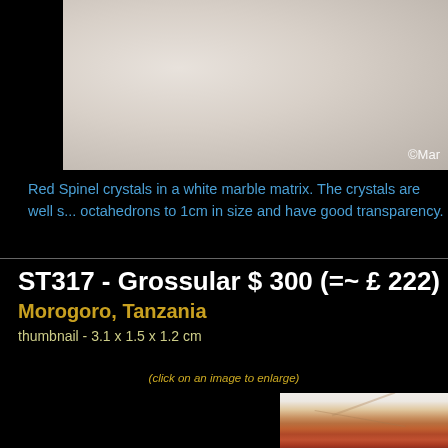[Figure (photo): Top portion of a photo showing a white marble matrix with mineral crystals, partially cropped. Copyright watermark visible at bottom right.]
Red Spinel crystals in a white marble matrix. The crystals are well s... octahedrons to 1cm in size and have good transparency.
ST317 - Grossular $ 300 (=~ £ 222) SOLD
Morogoro, Tanzania
thumbnail - 3.1 x 1.5 x 1.2 cm
(click on an image to enlarge)
[Figure (photo): Close-up macro photograph of a Grossular garnet crystal showing orange-red translucent crystal with internal cleavage planes visible, on a light grey/white background.]